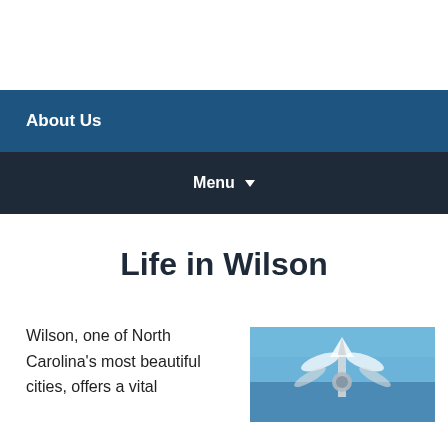About Us
Menu
Life in Wilson
Wilson, one of North Carolina's most beautiful cities, offers a vital
[Figure (photo): Photo of a decorative sculpture or art piece against a blue sky]